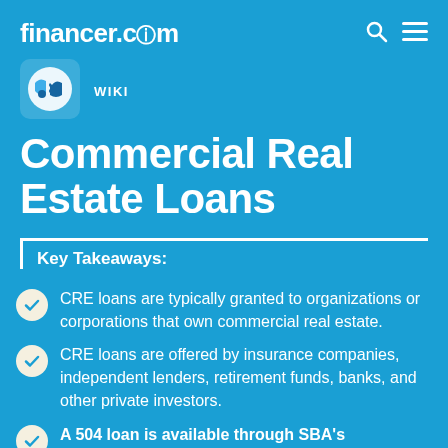financer.com
WIKI
Commercial Real Estate Loans
Key Takeaways:
CRE loans are typically granted to organizations or corporations that own commercial real estate.
CRE loans are offered by insurance companies, independent lenders, retirement funds, banks, and other private investors.
A 504 loan is available through SBA's